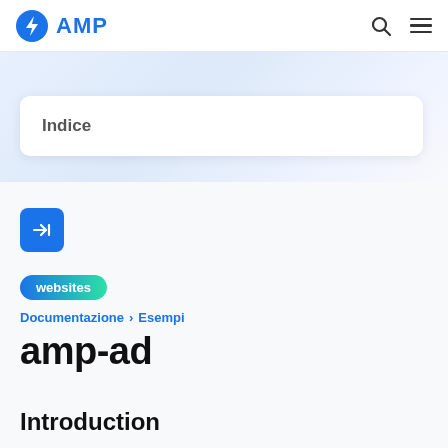AMP
[Figure (screenshot): Indice card with white background and rounded corners]
Indice
[Figure (other): Blue arrow button pointing right with collapse icon]
websites
Documentazione > Esempi
amp-ad
Introduction